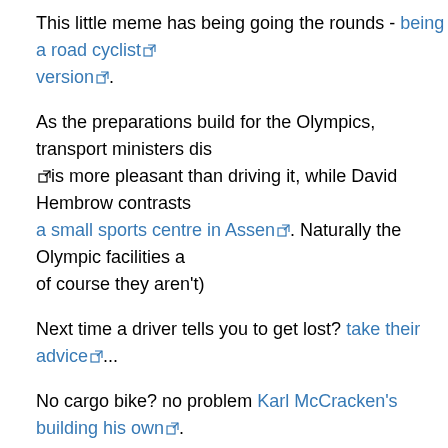This little meme has being going the rounds - being a road cyclist version.
As the preparations build for the Olympics, transport ministers dis... is more pleasant than driving it, while David Hembrow contrasts a small sports centre in Assen. Naturally the Olympic facilities a... of course they aren't)
Next time a driver tells you to get lost? take their advice...
No cargo bike? no problem Karl McCracken's building his own. cycling equivalent of Top Gear?
After last week's rogue bollards, the inanimate objects are at it ag...
Don't scratch and it won't itch sound advice for cyclists (and eve...
The air we breathe: a nice mashup of hire bike routes versus pollu...
And finally, something for us all to aim for when we're grown up: t... cyclist who could perhaps teach this stripling a thing or two. Wh...